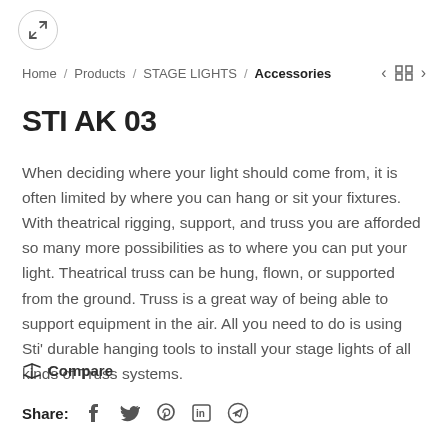[Figure (other): Expand/zoom icon button (circle with arrows pointing outward)]
Home / Products / STAGE LIGHTS / Accessories
STI AK 03
When deciding where your light should come from, it is often limited by where you can hang or sit your fixtures. With theatrical rigging, support, and truss you are afforded so many more possibilities as to where you can put your light. Theatrical truss can be hung, flown, or supported from the ground. Truss is a great way of being able to support equipment in the air. All you need to do is using Sti' durable hanging tools to install your stage lights of all kinds of Truss systems.
Compare
Share: